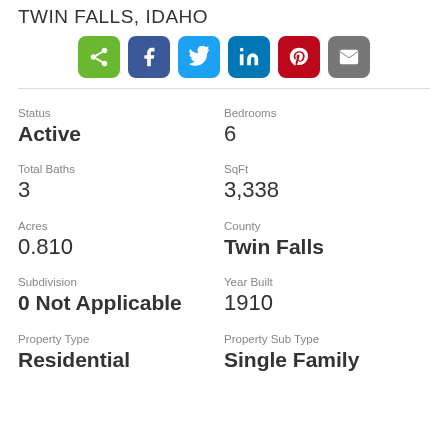TWIN FALLS, IDAHO
[Figure (infographic): Row of social sharing icon buttons: share (green), Facebook (dark blue), Twitter (light blue), LinkedIn (dark blue), Pinterest (red), Email (gray)]
| Field | Value |
| --- | --- |
| Status | Active |
| Bedrooms | 6 |
| Total Baths | 3 |
| SqFt | 3,338 |
| Acres | 0.810 |
| County | Twin Falls |
| Subdivision | 0 Not Applicable |
| Year Built | 1910 |
| Property Type | Residential |
| Property Sub Type | Single Family |